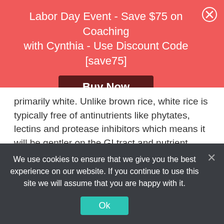Labor Day Event - Save $75 on Coaching with Cynthia - Use Discount Code [save75]
Buy Now
primarily white. Unlike brown rice, white rice is typically free of antinutrients like phytates, lectins and protease inhibitors which means it will be gentler on the GI tract and nutrient inhibition, because these substances reside in the bran and the germ, which is removed to make white rice. While it is true that brown rice is richer in nutrients than white rice, the antinutirents that are present are going to prevent absorption of those nutrients, so they are essentially useless anyhow. Besides that,
We use cookies to ensure that we give you the best experience on our website. If you continue to use this site we will assume that you are happy with it.
Ok